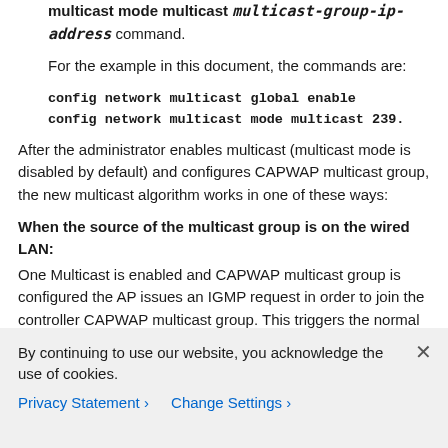multicast mode multicast <multicast-group-ip-address> command.
For the example in this document, the commands are:
After the administrator enables multicast (multicast mode is disabled by default) and configures CAPWAP multicast group, the new multicast algorithm works in one of these ways:
When the source of the multicast group is on the wired LAN:
One Multicast is enabled and CAPWAP multicast group is configured the AP issues an IGMP request in order to join the controller CAPWAP multicast group. This triggers the normal setup for the multicast state in the multicast-enabled routers, between the controller and APs. The
By continuing to use our website, you acknowledge the use of cookies.
Privacy Statement > Change Settings >